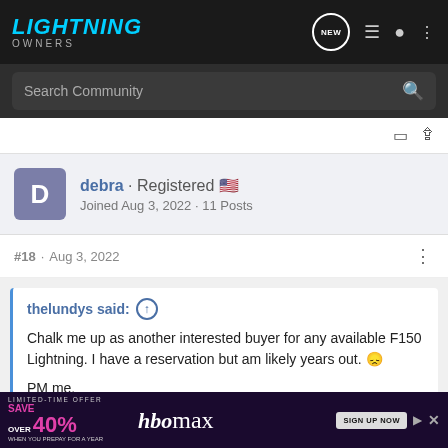LIGHTNING OWNERS
Search Community
debra · Registered · Joined Aug 3, 2022 · 11 Posts
#18 · Aug 3, 2022
thelundys said: ↑ Chalk me up as another interested buyer for any available F150 Lightning. I have a reservation but am likely years out. 😞 PM me.
We have
[Figure (screenshot): HBO Max advertisement banner: LIMITED-TIME OFFER SAVE OVER 40% WHEN YOU PREPAY FOR A YEAR, hbomax logo, SIGN UP NOW button]